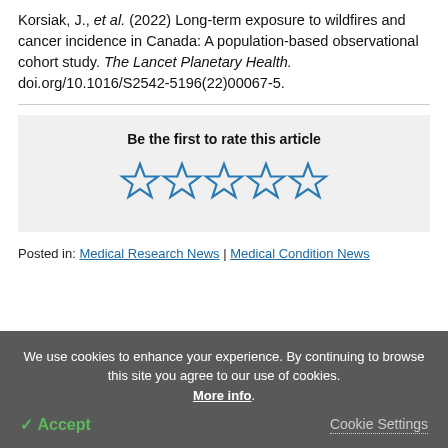Korsiak, J., et al. (2022) Long-term exposure to wildfires and cancer incidence in Canada: A population-based observational cohort study. The Lancet Planetary Health. doi.org/10.1016/S2542-5196(22)00067-5.
[Figure (other): Star rating widget with 5 empty blue stars and label 'Be the first to rate this article']
Posted in: Medical Research News | Medical Condition News
We use cookies to enhance your experience. By continuing to browse this site you agree to our use of cookies. More info.